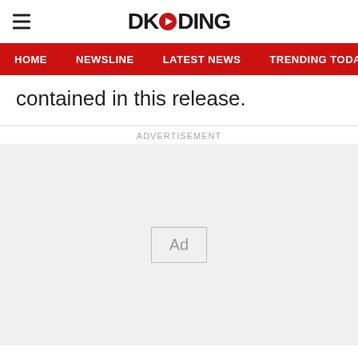DKODING
HOME | NEWSLINE | LATEST NEWS | TRENDING TODAY | ENT
contained in this release.
ADVERTISEMENT
[Figure (other): Advertisement placeholder box with 'Ad' label in center]